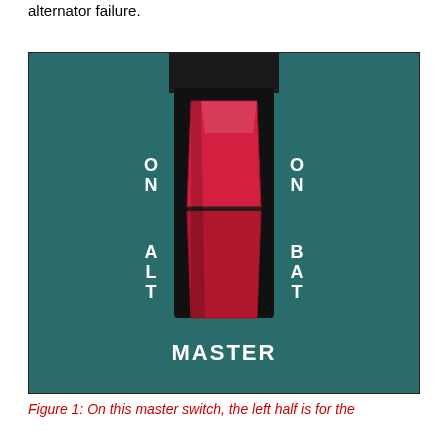alternator failure.
[Figure (photo): Close-up photograph of an aircraft master switch. The switch is a red rocker/toggle switch in the center. On the left side the label reads 'ON' at the top and 'ALT' below. On the right side the label reads 'ON' at the top and 'BAT' below. At the bottom center the label reads 'MASTER'. The switch panel is dark teal/green colored.]
Figure 1: On this master switch, the left half is for the